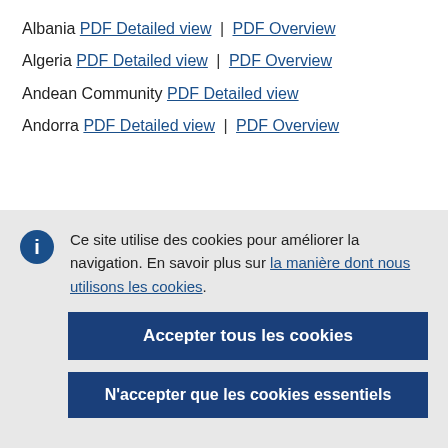Albania PDF Detailed view | PDF Overview
Algeria PDF Detailed view | PDF Overview
Andean Community PDF Detailed view
Andorra PDF Detailed view | PDF Overview
Ce site utilise des cookies pour améliorer la navigation. En savoir plus sur la manière dont nous utilisons les cookies.
Accepter tous les cookies
N'accepter que les cookies essentiels